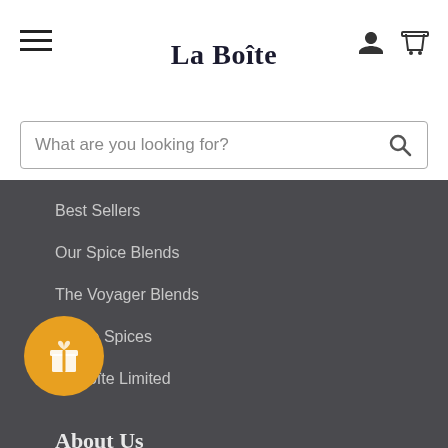La Boîte
What are you looking for?
Best Sellers
Our Spice Blends
The Voyager Blends
Single Spices
La Boîte Limited
About Us
Lior & La Boîte
Press
Contact Us
Customer Center
Privacy Policy